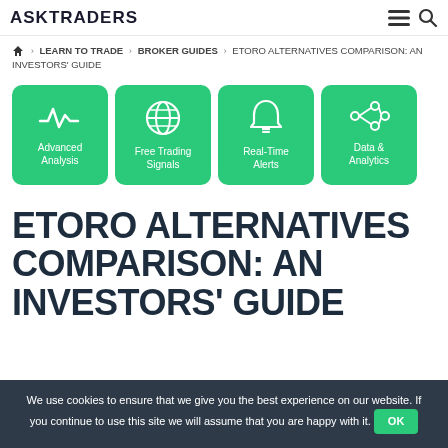ASKTRADERS
🏠 > LEARN TO TRADE > BROKER GUIDES > ETORO ALTERNATIVES COMPARISON: AN INVESTORS' GUIDE
[Figure (infographic): Four green feature cards with icons and labels: Advanced Analysis (waveform icon), Free Trading Signals (globe icon), Real-Time Alerts (bell icon), Data & Analytics (share/network icon)]
ETORO ALTERNATIVES COMPARISON: AN INVESTORS' GUIDE
We use cookies to ensure that we give you the best experience on our website. If you continue to use this site we will assume that you are happy with it. OK